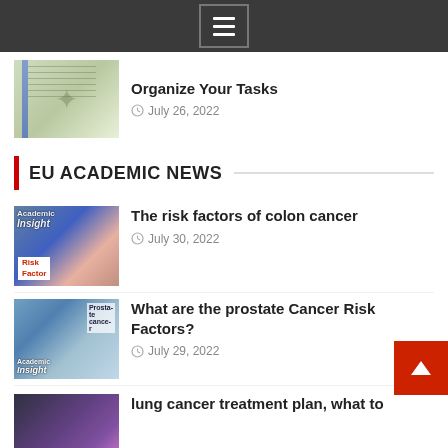Navigation menu icon
Organize Your Tasks
July 26, 2022
EU ACADEMIC NEWS
The risk factors of colon cancer
July 30, 2022
What are the prostate Cancer Risk Factors?
July 29, 2022
lung cancer treatment plan, what to